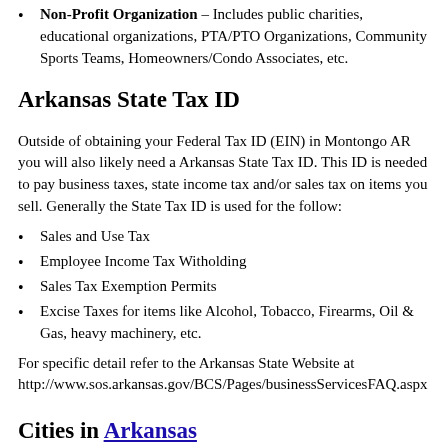Non-Profit Organization – Includes public charities, educational organizations, PTA/PTO Organizations, Community Sports Teams, Homeowners/Condo Associates, etc.
Arkansas State Tax ID
Outside of obtaining your Federal Tax ID (EIN) in Montongo AR you will also likely need a Arkansas State Tax ID. This ID is needed to pay business taxes, state income tax and/or sales tax on items you sell. Generally the State Tax ID is used for the follow:
Sales and Use Tax
Employee Income Tax Witholding
Sales Tax Exemption Permits
Excise Taxes for items like Alcohol, Tobacco, Firearms, Oil & Gas, heavy machinery, etc.
For specific detail refer to the Arkansas State Website at http://www.sos.arkansas.gov/BCS/Pages/businessServicesFAQ.aspx
Cities in Arkansas